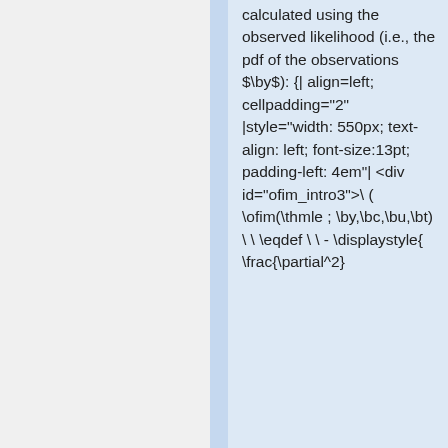calculated using the observed likelihood (i.e., the pdf of the observations $\by$): {| align=left; cellpadding="2" |style="width: 550px; text-align: left; font-size:13pt; padding-left: 4em"| <div id="ofim_intro3">\ ( \ofim(\thmle ; \by,\bc,\bu,\bt) \ \ \eqdef \ \ - \displaystyle{ \frac{\partial^2}